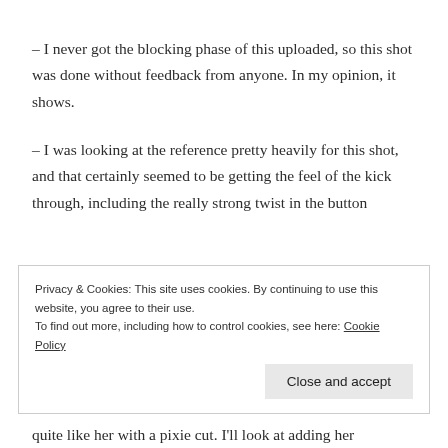– I never got the blocking phase of this uploaded, so this shot was done without feedback from anyone. In my opinion, it shows.
– I was looking at the reference pretty heavily for this shot, and that certainly seemed to be getting the feel of the kick through, including the really strong twist in the button
Privacy & Cookies: This site uses cookies. By continuing to use this website, you agree to their use.
To find out more, including how to control cookies, see here: Cookie Policy
quite like her with a pixie cut. I'll look at adding her